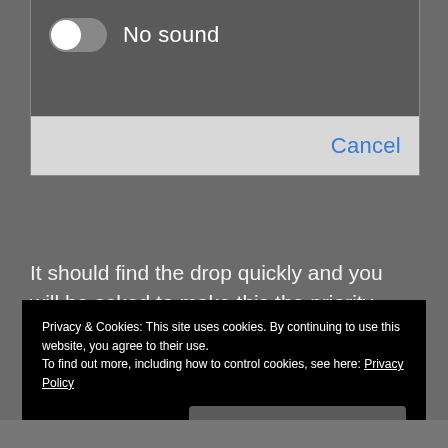[Figure (screenshot): A toggle switch turned off (knob on left) labeled 'No sound' inside a dark gray dialog box]
Cancel
It should find the drop quickly and you will be asked to make this the priority weather device as so;
Privacy & Cookies: This site uses cookies. By continuing to use this website, you agree to their use.
To find out more, including how to control cookies, see here: Privacy Policy
Close and accept